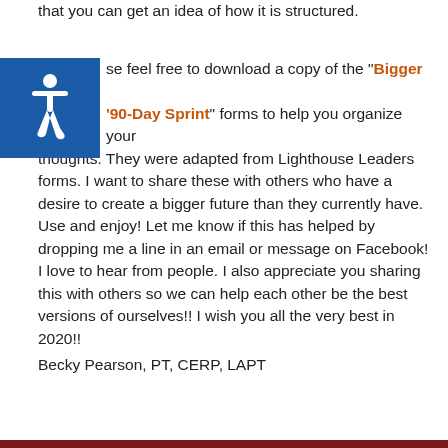that you can get an idea of how it is structured.
Please feel free to download a copy of the “Bigger Vision” and “90-Day Sprint” forms to help you organize your thoughts. They were adapted from Lighthouse Leaders forms. I want to share these with others who have a desire to create a bigger future than they currently have. Use and enjoy! Let me know if this has helped by dropping me a line in an email or message on Facebook! I love to hear from people. I also appreciate you sharing this with others so we can help each other be the best versions of ourselves!! I wish you all the very best in 2020!!
Becky Pearson, PT,  CERP, LAPT